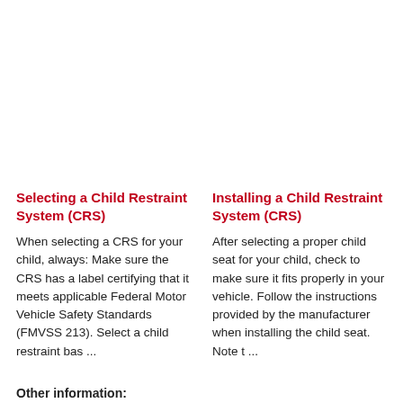Selecting a Child Restraint System (CRS)
When selecting a CRS for your child, always: Make sure the CRS has a label certifying that it meets applicable Federal Motor Vehicle Safety Standards (FMVSS 213). Select a child restraint bas ...
Installing a Child Restraint System (CRS)
After selecting a proper child seat for your child, check to make sure it fits properly in your vehicle. Follow the instructions provided by the manufacturer when installing the child seat. Note t ...
Other information:
Lincoln Corsair Owners Manual: Climate